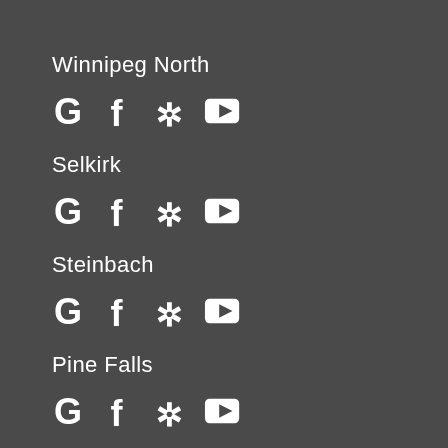Winnipeg North
[Figure (infographic): Social media icons: Google, Facebook, Yelp, YouTube]
Selkirk
[Figure (infographic): Social media icons: Google, Facebook, Yelp, YouTube]
Steinbach
[Figure (infographic): Social media icons: Google, Facebook, Yelp, YouTube]
Pine Falls
[Figure (infographic): Social media icons: Google, Facebook, Yelp, YouTube]